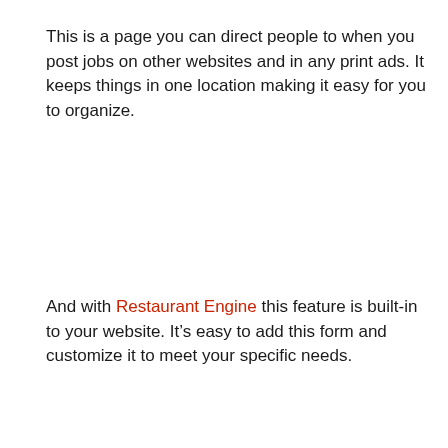This is a page you can direct people to when you post jobs on other websites and in any print ads. It keeps things in one location making it easy for you to organize.
And with Restaurant Engine this feature is built-in to your website. It's easy to add this form and customize it to meet your specific needs.
[Figure (other): Advertisement placeholder box with light gray background and the word ADVERTISEMENT centered near the top in light gray spaced lettering]